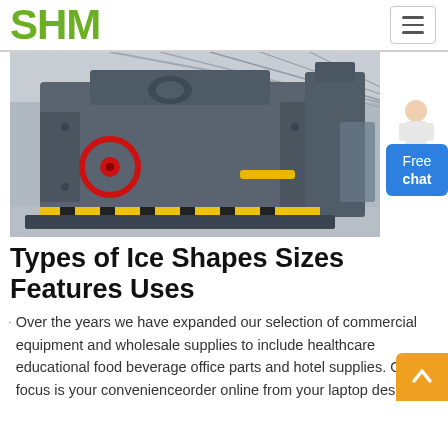SHM
[Figure (photo): Large industrial crushing/milling machine (grey, heavy-duty) in a factory hall with red circular element and yellow bar visible; warehouse interior background.]
Types of Ice Shapes Sizes Features Uses
Over the years we have expanded our selection of commercial equipment and wholesale supplies to include healthcare educational food beverage office parts and hotel supplies. Our focus is your convenienceorder online from your laptop des[k]or